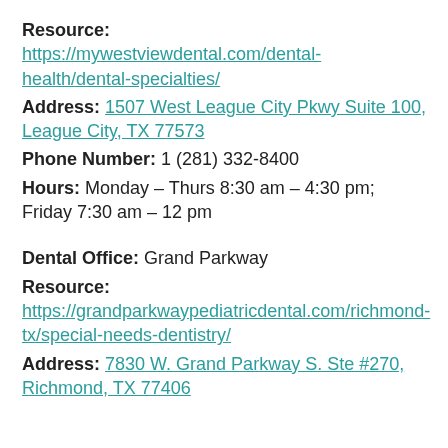Resource: https://mywestviewdental.com/dental-health/dental-specialties/
Address: 1507 West League City Pkwy Suite 100, League City, TX 77573
Phone Number: 1 (281) 332-8400
Hours: Monday – Thurs 8:30 am – 4:30 pm; Friday 7:30 am – 12 pm
Dental Office: Grand Parkway
Resource: https://grandparkwaypediatricdental.com/richmond-tx/special-needs-dentistry/
Address: 7830 W. Grand Parkway S. Ste #270, Richmond, TX 77406